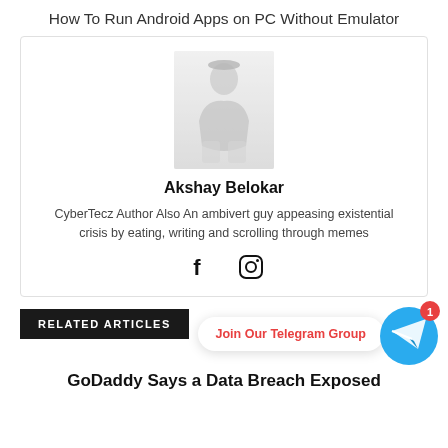How To Run Android Apps on PC Without Emulator
[Figure (photo): Author photo of Akshay Belokar - a person sitting casually, shown in a light grey/faded style]
Akshay Belokar
CyberTecz Author Also An ambivert guy appeasing existential crisis by eating, writing and scrolling through memes
[Figure (illustration): Social media icons: Facebook (f) and Instagram (circle) icons]
RELATED ARTICLES
Join Our Telegram Group
[Figure (logo): Telegram logo icon in a blue circle with a red notification badge showing 1]
GoDaddy Says a Data Breach Exposed